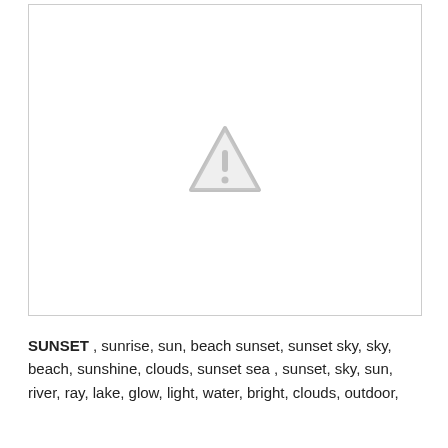[Figure (photo): Placeholder image box with a grey warning/image-unavailable triangle icon with exclamation mark in the center]
SUNSET , sunrise, sun, beach sunset, sunset sky, sky, beach, sunshine, clouds, sunset sea , sunset, sky, sun, river, ray, lake, glow, light, water, bright, clouds, outdoor,